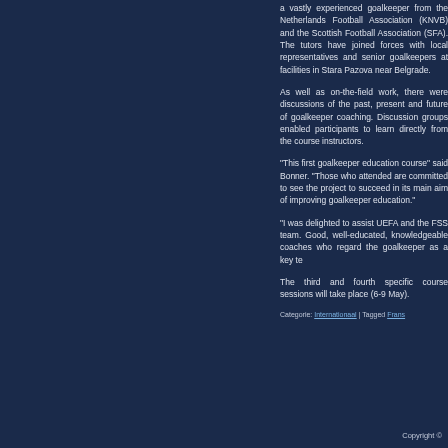a vastly experienced goalkeeper from the Netherlands Football Association (KNVB) and the Scottish Football Association (SFA). The tutors have joined forces with local representatives and senior goalkeepers at facilities in Stara Pazova near Belgrade.
As well as on-the-field work, there were discussions of the past, present and future of goalkeeper coaching. Discussion groups enabled participants to learn directly from the course instructors.
"This first goalkeeper education course" said Bonner. "Those who attended are committed to see the project to succeed in its main aim of improving goalkeeper education."
"I was delighted to assist UEFA and the FSS team. Good, well-educated, knowledgeable coaches who regard the goalkeeper as a key te
The third and fourth specific course sessions will take place (6-9 May).
Categorie: Internationaal | Tagged Frans
Copyright ©